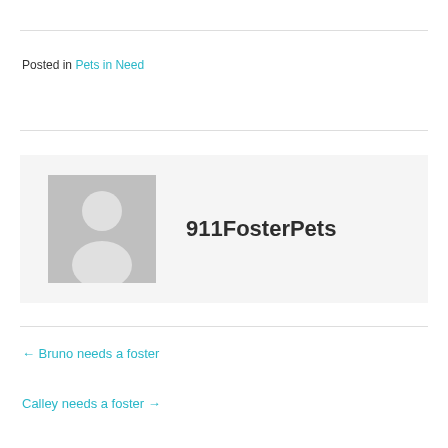Posted in Pets in Need
[Figure (illustration): Author profile box with grey default avatar silhouette and the name 911FosterPets in bold]
← Bruno needs a foster
Calley needs a foster →